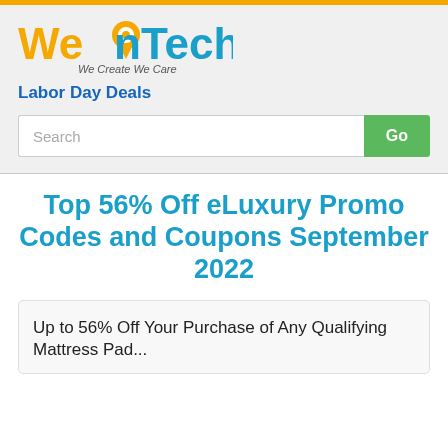[Figure (logo): WeOnTech logo with orange/yellow text and orange map pin icon, tagline: We Create We Care]
Labor Day Deals
Search / Go button
Top 56% Off eLuxury Promo Codes and Coupons September 2022
Up to 56% Off Your Purchase of Any Qualifying Mattress Pad...